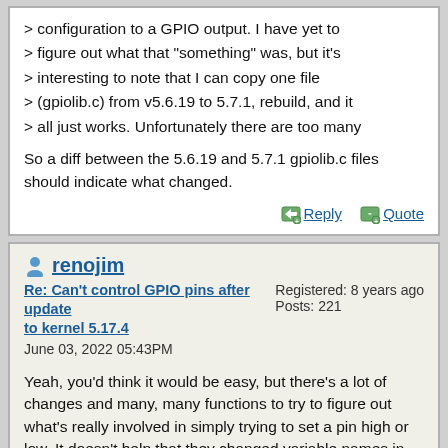> configuration to a GPIO output. I have yet to
> figure out what that "something" was, but it's
> interesting to note that I can copy one file
> (gpiolib.c) from v5.6.19 to 5.7.1, rebuild, and it
> all just works. Unfortunately there are too many

So a diff between the 5.6.19 and 5.7.1 gpiolib.c files should indicate what changed.
Reply   Quote
renojim
Re: Can't control GPIO pins after update to kernel 5.17.4
June 03, 2022 05:43PM
Registered: 8 years ago
Posts: 221
Yeah, you'd think it would be easy, but there's a lot of changes and many, many functions to try to figure out what's really involved in simply trying to set a pin high or low. It doesn't help that they changed variable names in statements that are otherwise identical producing hundreds of meaningless diffs. I can't be the only person in the world that's using GPIOs on a